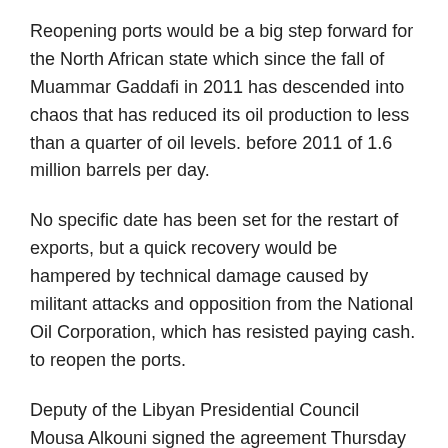Reopening ports would be a big step forward for the North African state which since the fall of Muammar Gaddafi in 2011 has descended into chaos that has reduced its oil production to less than a quarter of oil levels. before 2011 of 1.6 million barrels per day.
No specific date has been set for the restart of exports, but a quick recovery would be hampered by technical damage caused by militant attacks and opposition from the National Oil Corporation, which has resisted paying cash. to reopen the ports.
Deputy of the Libyan Presidential Council Mousa Alkouni signed the agreement Thursday evening with Ibrahim al-Jathran, commander of the guards of the oil installations, one of the several Libyan armed brigades which control the terminals.
“I think the recovery now depends on the technical part … and I also think it will happen within a week to two weeks, but no more,” Alkouni told Reuters by telephone.